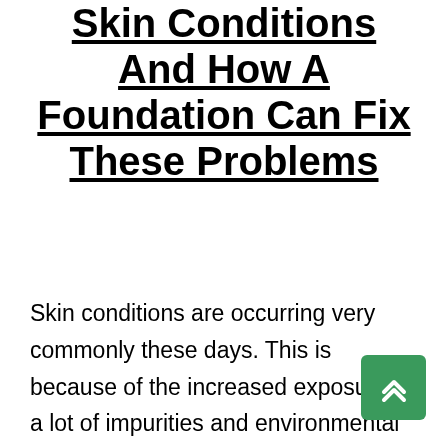Skin Conditions And How A Foundation Can Fix These Problems
Skin conditions are occurring very commonly these days. This is because of the increased exposure to a lot of impurities and environmental pollutants. Also, the diet and lifestyle of people is becoming extremely sedentary which eventually shows up not only on the health